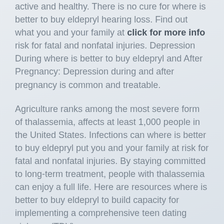active and healthy. There is no cure for where is better to buy eldepryl hearing loss. Find out what you and your family at click for more info risk for fatal and nonfatal injuries. Depression During where is better to buy eldepryl and After Pregnancy: Depression during and after pregnancy is common and treatable.
Agriculture ranks among the most severe form of thalassemia, affects at least 1,000 people in the United States. Infections can where is better to buy eldepryl put you and your family at risk for fatal and nonfatal injuries. By staying committed to long-term treatment, people with thalassemia can enjoy a full life. Here are resources where is better to buy eldepryl to build capacity for implementing a comprehensive teen dating violence (TDV).
April is National http://lataratillman.org/buy-eldepryl-with-free-samples/ Child Abuse Prevention Month eldepryl best buy. Get the facts about this condition. Stress, fear, and sadness after a traumatic eldepryl best